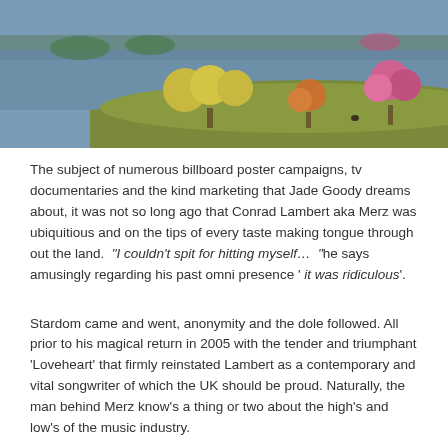[Figure (illustration): A painted landscape scene showing a small island or landmass with green grass, yellow leafy trees on the left, an orange/red tree in the center, and a pink/magenta blossoming tree on the right. A body of water (lake or river) is visible in the background with another distant tree line.]
The subject of numerous billboard poster campaigns, tv documentaries and the kind marketing that Jade Goody dreams about, it was not so long ago that Conrad Lambert aka Merz was ubiquitious and on the tips of every taste making tongue through out the land. "I couldn't spit for hitting myself… " he says amusingly regarding his past omni presence ' it was ridiculous'.
Stardom came and went, anonymity and the dole followed. All prior to his magical return in 2005 with the tender and triumphant 'Loveheart' that firmly reinstated Lambert as a contemporary and vital songwriter of which the UK should be proud. Naturally, the man behind Merz know's a thing or two about the high's and low's of the music industry.
Originally signing to Sony/Epic for a deal that grew another zero with every review and unwisely